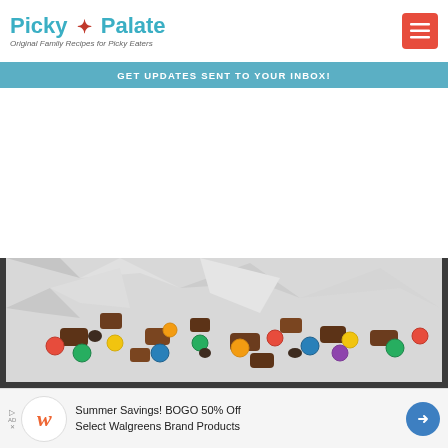Picky Palate — Original Family Recipes for Picky Eaters
GET UPDATES SENT TO YOUR INBOX!
[Figure (photo): A baking pan lined with foil containing a mixture of chocolate candies, M&Ms (multicolor), and chocolate pieces, viewed from above at an angle.]
Summer Savings! BOGO 50% Off Select Walgreens Brand Products